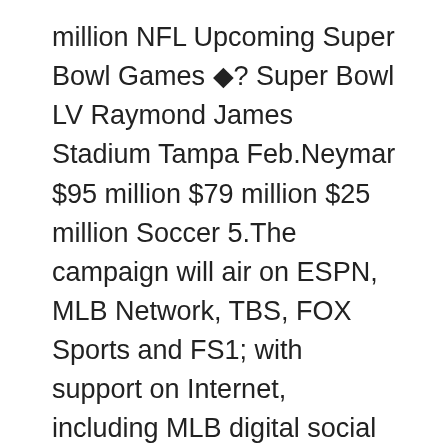million NFL Upcoming Super Bowl Games ◆? Super Bowl LV Raymond James Stadium Tampa Feb.Neymar $95 million $79 million $25 million Soccer 5.The campaign will air on ESPN, MLB Network, TBS, FOX Sports and FS1; with support on Internet, including MLB digital social platforms and the Cubs' home page.New York Jets NFL $3B 20.
The skates of the skaters are the determining factor.he asks the horse.We are excited to be working with McDonald's to bring our fans closer to the game with unique experiences during the Pro Bowl and all season long.Carson Wentz $59 million $55 million $4 million NFL Upcoming Super Bowl